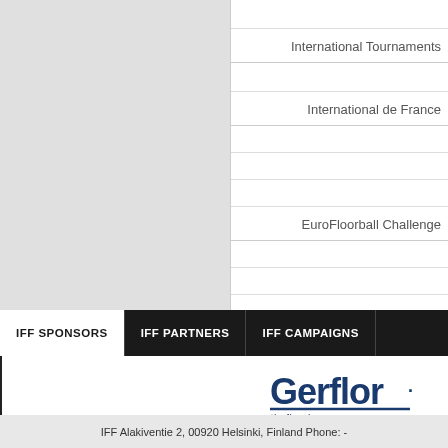| Category | Value |
| --- | --- |
| International Tournaments |  |
|  |  |
| International de France |  |
|  |  |
|  |  |
|  |  |
| EuroFloorball Challenge |  |
|  |  |
|  |  |
IFF SPONSORS
IFF PARTNERS
IFF CAMPAIGNS
[Figure (logo): Gerflor theflooringgroup logo]
IFF Alakiventie 2, 00920 Helsinki, Finland Phone: -